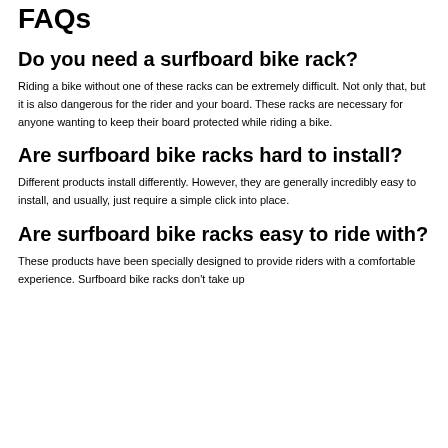FAQs
Do you need a surfboard bike rack?
Riding a bike without one of these racks can be extremely difficult. Not only that, but it is also dangerous for the rider and your board. These racks are necessary for anyone wanting to keep their board protected while riding a bike.
Are surfboard bike racks hard to install?
Different products install differently. However, they are generally incredibly easy to install, and usually, just require a simple click into place.
Are surfboard bike racks easy to ride with?
These products have been specially designed to provide riders with a comfortable experience. Surfboard bike racks don't take up